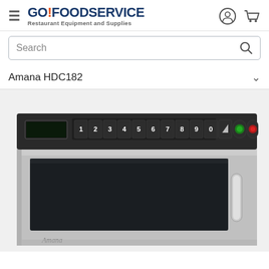GO!FOODSERVICE Restaurant Equipment and Supplies
Search
Amana HDC182
[Figure (photo): Amana HDC182 commercial microwave oven, stainless steel exterior, with numeric keypad control panel on top and a large door with dark window and vertical handle on the right side. The Amana logo is visible on the lower front panel.]